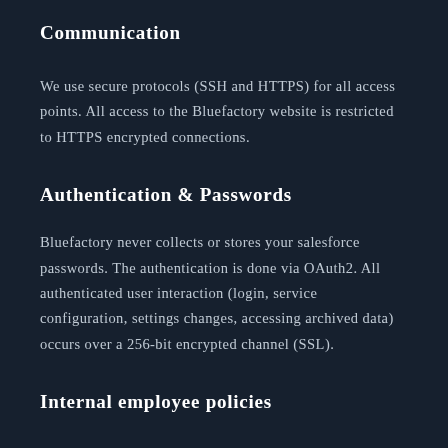Communication
We use secure protocols (SSH and HTTPS) for all access points. All access to the Bluefactory website is restricted to HTTPS encrypted connections.
Authentication & Passwords
Bluefactory never collects or stores your salesforce passwords. The authentication is done via OAuth2. All authenticated user interaction (login, service configuration, settings changes, accessing archived data) occurs over a 256-bit encrypted channel (SSL).
Internal employee policies